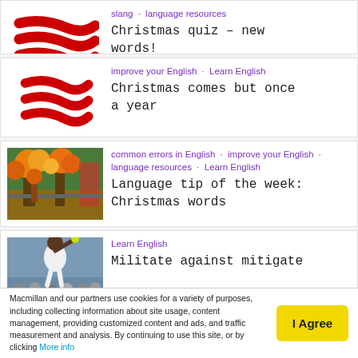slang · language resources
Christmas quiz – new words!
improve your English · Learn English
Christmas comes but once a year
common errors in English · improve your English · language resources · Learn English
Language tip of the week: Christmas words
Learn English
Militate against mitigate
Learn English
Macmillan and our partners use cookies for a variety of purposes, including collecting information about site usage, content management, providing customized content and ads, and traffic measurement and analysis. By continuing to use this site, or by clicking More info